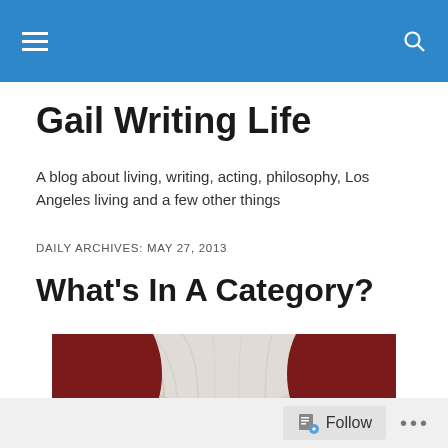Navigation bar with menu and search icons
Gail Writing Life
A blog about living, writing, acting, philosophy, Los Angeles living and a few other things
DAILY ARCHIVES: MAY 27, 2013
What's In A Category?
[Figure (photo): Partial photo of a person with white/grey hair against a dark red background, cropped at the top]
Follow ...